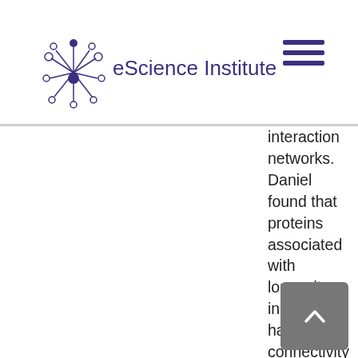eScience Institute
interaction networks. Daniel found that proteins associated with longevity in yeast had higher connectivity than other proteins. Work in the ensuing decade has shown similar patterns in flies and even in humans. In another study, Daniel found that connectivity of the yeast gene regulatory network was able to predict the degree of variability in gene expression among different environments.

More recently, in